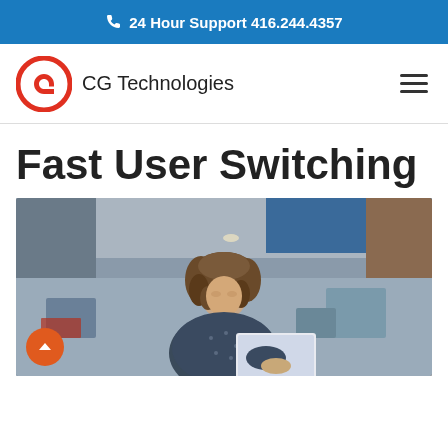📞 24 Hour Support 416.244.4357
[Figure (logo): CG Technologies logo with red circular G icon and company name]
Fast User Switching
[Figure (photo): Woman with curly hair working at a laptop in a modern open office environment]